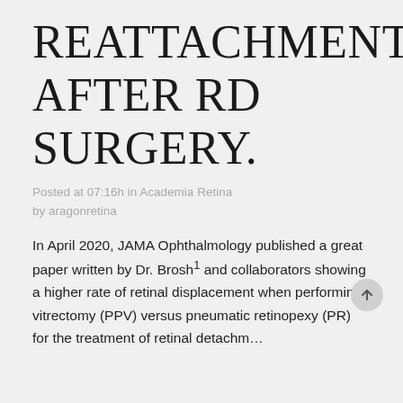REATTACHMENT AFTER RD SURGERY.
Posted at 07:16h in Academia Retina by aragonretina
In April 2020, JAMA Ophthalmology published a great paper written by Dr. Brosh¹ and collaborators showing a higher rate of retinal displacement when performing vitrectomy (PPV) versus pneumatic retinopexy (PR) for the treatment of retinal detachment.